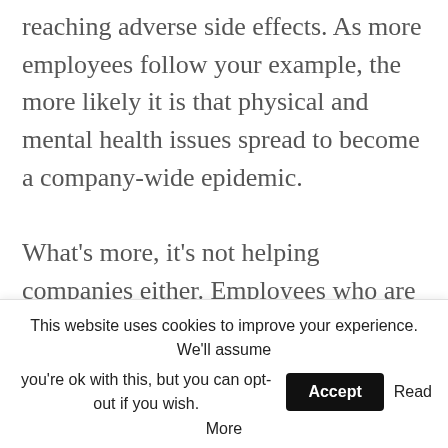reaching adverse side effects. As more employees follow your example, the more likely it is that physical and mental health issues spread to become a company-wide epidemic.

What's more, it's not helping companies either. Employees who are feeling an imbalanced state of well-being are 33 percent more likely to seek a new role elsewhere. In contrast
This website uses cookies to improve your experience. We'll assume you're ok with this, but you can opt-out if you wish. Accept Read More